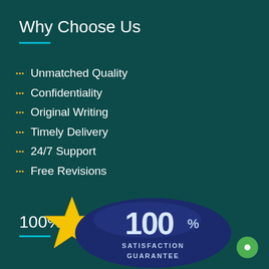Why Choose Us
Unmatched Quality
Confidentiality
Original Writing
Timely Delivery
24/7 Support
Free Revisions
100% Satisfaction
[Figure (illustration): 100% Satisfaction Guarantee badge: dark navy oval with '100%' in large white text and 'SATISFACTION GUARANTEE' text, with a gold star to the left]